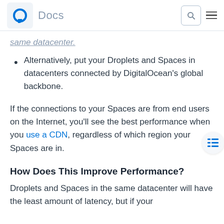Docs
same datacenter.
Alternatively, put your Droplets and Spaces in datacenters connected by DigitalOcean's global backbone.
If the connections to your Spaces are from end users on the Internet, you'll see the best performance when you use a CDN, regardless of which region your Spaces are in.
How Does This Improve Performance?
Droplets and Spaces in the same datacenter will have the least amount of latency, but if your